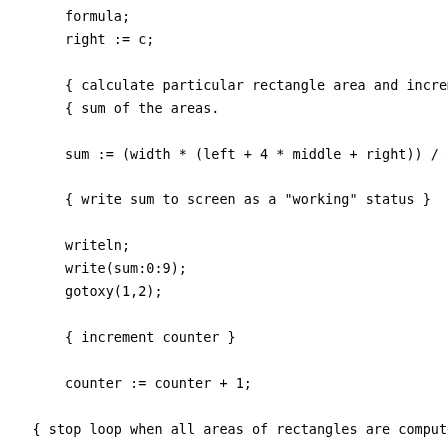formula;
        right := c;

        { calculate particular rectangle area and increment
        { sum of the areas.

        sum := (width * (left + 4 * middle + right)) / 3 +

        { write sum to screen as a "working" status }

        writeln;
        write(sum:0:9);
        gotoxy(1,2);

        { increment counter }

        counter := counter + 1;

    { stop loop when all areas of rectangles are computed

    until counter = divisions;

    { output results }

    clrscr;
    writeln('The area under the curve is ', sum:0:9, '.'
                                        { ^^^^^^^^ }
end.                                    { format code u
                                        { scientific no